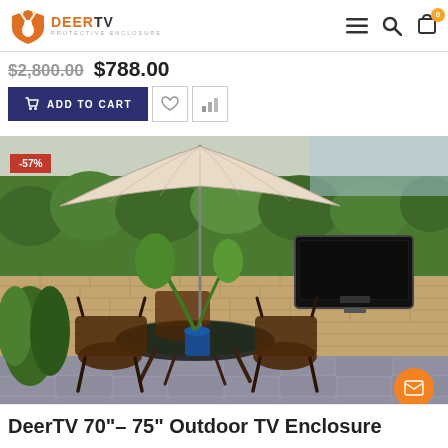DeerTV Protective Enclosure
$2,800.00  $788.00
ADD TO CART
[Figure (photo): Outdoor patio scene with a brick wall mounted TV enclosure, garden furniture with a patio umbrella, and green hedges in the background. A red badge shows -57% discount.]
DeerTV 70"-75" Outdoor TV Enclosure